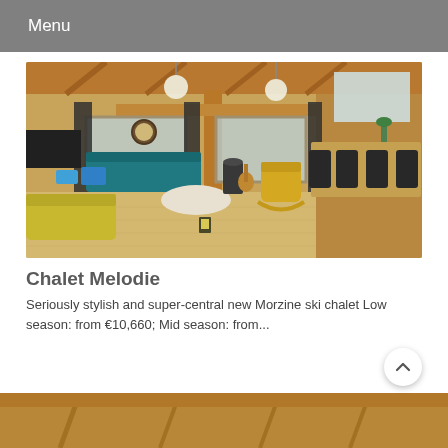Menu
[Figure (photo): Interior of Chalet Melodie ski chalet showing open-plan living and dining area with wooden beamed ceiling, teal sofas, yellow rocking chair, dark dining chairs around a wooden table, wood-burning stove, and large windows]
Chalet Melodie
Seriously stylish and super-central new Morzine ski chalet Low season: from €10,660; Mid season: from...
[Figure (photo): Partial view of another chalet interior showing wooden beamed ceiling, similar wooden construction]